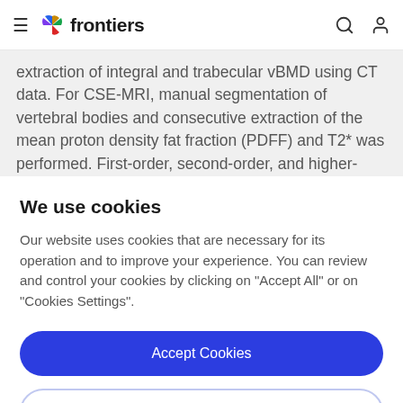frontiers
extraction of integral and trabecular vBMD using CT data. For CSE-MRI, manual segmentation of vertebral bodies and consecutive extraction of the mean proton density fat fraction (PDFF) and T2* was performed. First-order, second-order, and higher-order texture features
We use cookies
Our website uses cookies that are necessary for its operation and to improve your experience. You can review and control your cookies by clicking on "Accept All" or on "Cookies Settings".
Accept Cookies
Cookies Settings